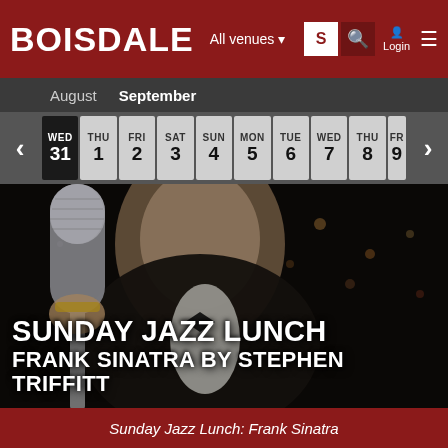BOISDALE — All venues — Login
August  September
| WED | THU | FRI | SAT | SUN | MON | TUE | WED | THU |
| --- | --- | --- | --- | --- | --- | --- | --- | --- |
| 31 | 1 | 2 | 3 | 4 | 5 | 6 | 7 | 8 |
[Figure (photo): Man in tuxedo holding microphone, performing singer, with text overlay: SUNDAY JAZZ LUNCH / FRANK SINATRA BY STEPHEN TRIFFITT]
Sunday Jazz Lunch: Frank Sinatra